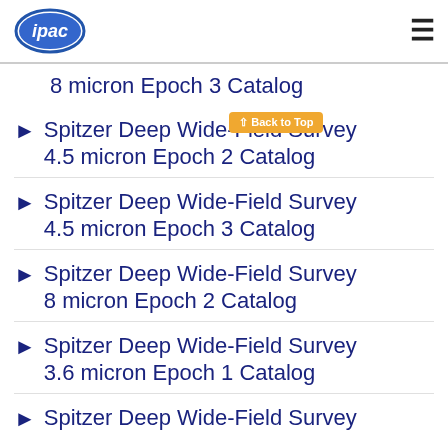[Figure (logo): IPAC logo - blue oval with 'ipac' text in white]
8 micron Epoch 3 Catalog
Spitzer Deep Wide-Field Survey 4.5 micron Epoch 2 Catalog
Spitzer Deep Wide-Field Survey 4.5 micron Epoch 3 Catalog
Spitzer Deep Wide-Field Survey 8 micron Epoch 2 Catalog
Spitzer Deep Wide-Field Survey 3.6 micron Epoch 1 Catalog
Spitzer Deep Wide-Field Survey